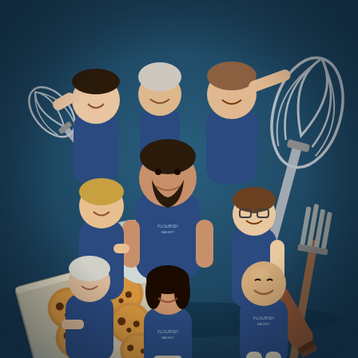[Figure (photo): Group photo of approximately nine bakery staff members wearing matching navy blue 'Flourish Bakery' t-shirts, posing playfully against a dark blue background. They are holding various baking tools including a large balloon whisk, a stand mixer bowl, a baking sheet with chocolate chip cookies, and a rolling pin. The group is arranged in three informal rows with people smiling and laughing.]